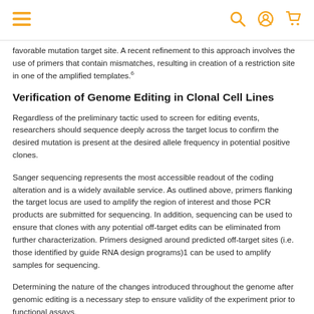Navigation header with hamburger menu, search, account, and cart icons
favorable mutation target site. A recent refinement to this approach involves the use of primers that contain mismatches, resulting in creation of a restriction site in one of the amplified templates.6
Verification of Genome Editing in Clonal Cell Lines
Regardless of the preliminary tactic used to screen for editing events, researchers should sequence deeply across the target locus to confirm the desired mutation is present at the desired allele frequency in potential positive clones.
Sanger sequencing represents the most accessible readout of the coding alteration and is a widely available service. As outlined above, primers flanking the target locus are used to amplify the region of interest and those PCR products are submitted for sequencing. In addition, sequencing can be used to ensure that clones with any potential off-target edits can be eliminated from further characterization. Primers designed around predicted off-target sites (i.e. those identified by guide RNA design programs)1 can be used to amplify samples for sequencing.
Determining the nature of the changes introduced throughout the genome after genomic editing is a necessary step to ensure validity of the experiment prior to functional assays.
Although it is cost-prohibitive, next-generation sequencing (NGS) can provide